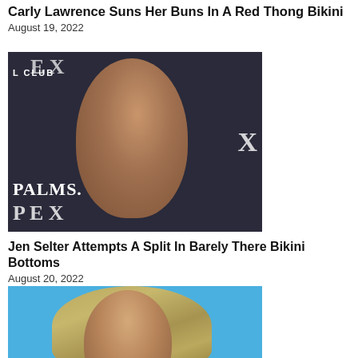Carly Lawrence Suns Her Buns In A Red Thong Bikini August 19, 2022
[Figure (photo): Photo of a dark-haired woman smiling at an event at Palms Casino, with PEX and club signage visible in the background]
Jen Selter Attempts A Split In Barely There Bikini Bottoms
August 20, 2022
[Figure (photo): Partial photo of a blonde woman against a blue background]